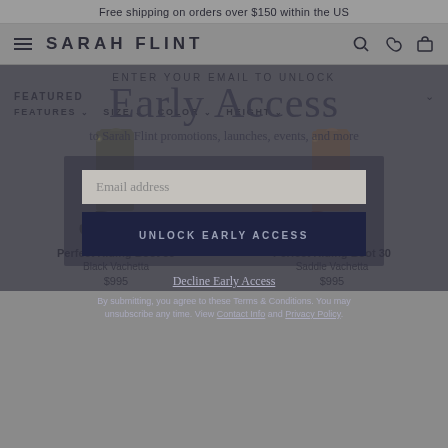Free shipping on orders over $150 within the US
[Figure (screenshot): Sarah Flint website navigation bar with hamburger menu, logo, search, wishlist, and cart icons]
ENTER YOUR EMAIL TO UNLOCK
FEATURED
FEATURES  SIZE  COLOR  HEIGHT
[Figure (screenshot): Early Access email popup modal overlay on Sarah Flint website showing two riding boots, email input field, UNLOCK EARLY ACCESS button, Decline Early Access link, and legal text]
Early Access
to Sarah Flint promotions, launches, events, and more
Email address
UNLOCK EARLY ACCESS
Decline Early Access
By submitting, you agree to these Terms & Conditions. You may unsubscribe any time. View Contact Info and Privacy Policy.
Perfect Riding Boot 30
Black Vachetta
$995
Perfect Riding Boot 30
Saddle Vachetta
$995